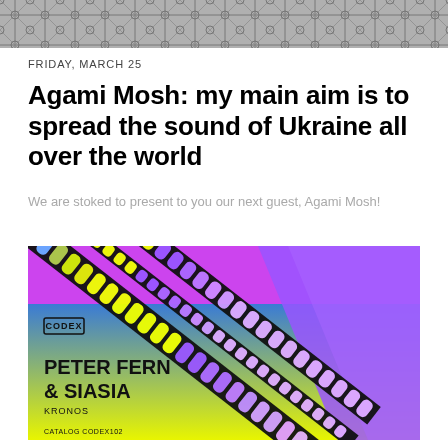[Figure (photo): Decorative black and white patterned image at the top of the page]
FRIDAY, MARCH 25
Agami Mosh: my main aim is to spread the sound of Ukraine all over the world
We are stoked to present to you our next guest, Agami Mosh!
[Figure (illustration): Album cover artwork for 'KRONOS' by Peter Fern & Siasia on Codex label. Background is split diagonally with purple/magenta on top and blue-to-yellow gradient on the left, and a yellow-to-purple gradient on the right. Bold black decorative chain/tire track patterns diagonal across the center. Text reads: CODEX, PETER FERN & SIASIA, KRONOS, CATALOG CODE8102]